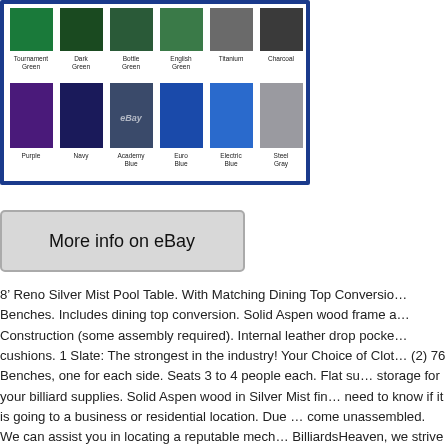[Figure (photo): Color swatches for pool table cloth options. Top row: Tournament Green, Dark Green, Bottle Green, English Green, Titanium, Charcoal. Bottom row: Purple, Navy, Academy Blue, Euro Blue, Electric Blue, Steel Gray. eBay watermark visible.]
[Figure (other): Button image reading 'More info on eBay' with gray background and border.]
8' Reno Silver Mist Pool Table. With Matching Dining Top Conversio... Benches. Includes dining top conversion. Solid Aspen wood frame a... Construction (some assembly required). Internal leather drop pocke... cushions. 1 Slate: The strongest in the industry! Your Choice of Clot... (2) 76 Benches, one for each side. Seats 3 to 4 people each. Flat su... storage for your billiard supplies. Solid Aspen wood in Silver Mist fin... need to know if it is going to a business or residential location. Due ... come unassembled. We can assist you in locating a reputable mech... BilliardsHeaven, we strive to offer excellent customer service! We a... 10:30 a. To 4:00 p. We want to earn your business now and in the fu... Shopping with us! Billiards Heaven Customer Service. Monday thru... and Bank Holidays. The item “Reno Silver Mist Pool Table 8’ with Di... FREE Shipping” is in sale since Wednesday, October 16, 2019. This... Goods\Indoor Games\Billiards\Tables". The seller is “billiardshea...